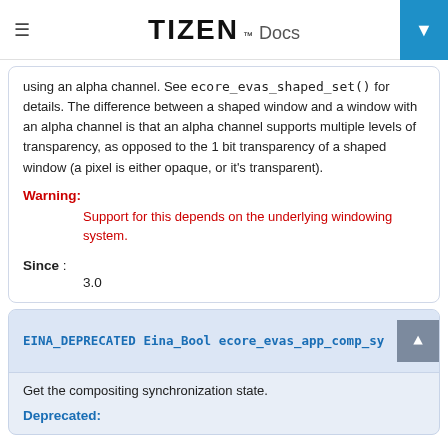TIZEN™ Docs
using an alpha channel. See ecore_evas_shaped_set() for details. The difference between a shaped window and a window with an alpha channel is that an alpha channel supports multiple levels of transparency, as opposed to the 1 bit transparency of a shaped window (a pixel is either opaque, or it's transparent).
Warning: Support for this depends on the underlying windowing system.
Since : 3.0
EINA_DEPRECATED Eina_Bool ecore_evas_app_comp_sy
Get the compositing synchronization state.
Deprecated: